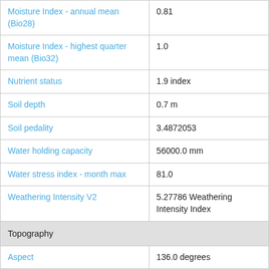| Parameter | Value |
| --- | --- |
| Moisture Index - annual mean (Bio28) | 0.81 |
| Moisture Index - highest quarter mean (Bio32) | 1.0 |
| Nutrient status | 1.9 index |
| Soil depth | 0.7 m |
| Soil pedality | 3.4872053 |
| Water holding capacity | 56000.0 mm |
| Water stress index - month max | 81.0 |
| Weathering Intensity V2 | 5.27786 Weathering Intensity Index |
| Topography |  |
| Aspect | 136.0 degrees |
| Averaged Topographic Relief | 52.083332 metres |
| Bathymetry and Elvation 9 sec | 2.0 m |
| Elevation | 4.0 m |